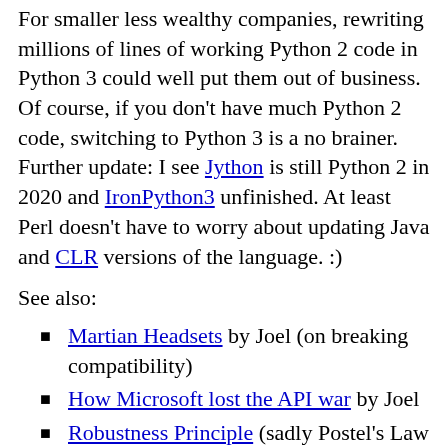For smaller less wealthy companies, rewriting millions of lines of working Python 2 code in Python 3 could well put them out of business. Of course, if you don't have much Python 2 code, switching to Python 3 is a no brainer. Further update: I see Jython is still Python 2 in 2020 and IronPython3 unfinished. At least Perl doesn't have to worry about updating Java and CLR versions of the language. :)
See also:
Martian Headsets by Joel (on breaking compatibility)
How Microsoft lost the API war by Joel
Robustness Principle (sadly Postel's Law "Be conservative in what you